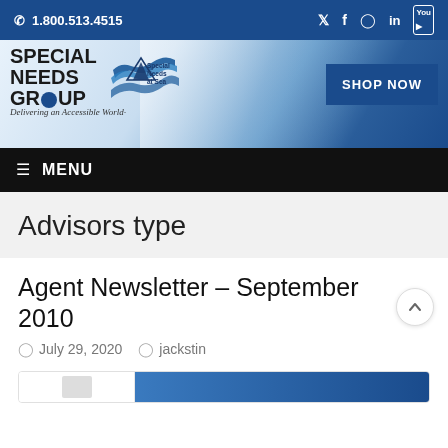1.800.513.4515
[Figure (logo): Special Needs Group and Special Needs at Sea logos with tagline 'Delivering an Accessible World']
MENU
Advisors type
Agent Newsletter – September 2010
July 29, 2020   jackstin
[Figure (screenshot): Partial view of article thumbnail images at bottom of page]